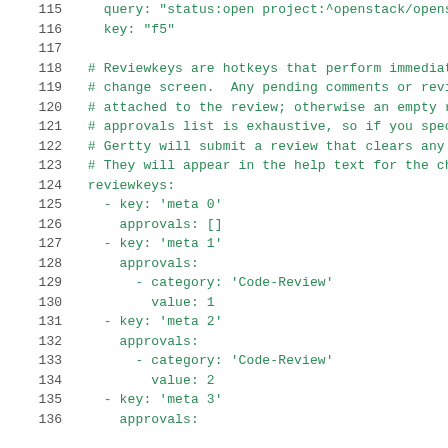[Figure (screenshot): Code snippet showing YAML configuration lines 115-136 with line numbers on the left in grey and code in green monospace font. Lines 115-116 show query and key fields, lines 118-123 are comments about reviewkeys, lines 124-136 show reviewkeys configuration with meta 0, meta 1, meta 2, meta 3 keys and their approvals.]